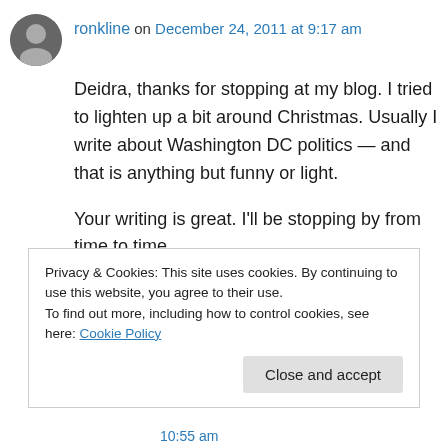ronkline on December 24, 2011 at 9:17 am
Deidra, thanks for stopping at my blog. I tried to lighten up a bit around Christmas. Usually I write about Washington DC politics — and that is anything but funny or light.
Your writing is great. I'll be stopping by from time to time.
Ron
Like
Privacy & Cookies: This site uses cookies. By continuing to use this website, you agree to their use.
To find out more, including how to control cookies, see here: Cookie Policy
Close and accept
10:55 am